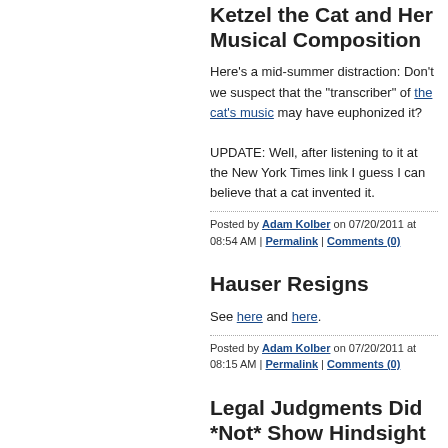Ketzel the Cat and Her Musical Composition
Here's a mid-summer distraction: Don't we suspect that the "transcriber" of the cat's music may have euphonized it?

UPDATE: Well, after listening to it at the New York Times link I guess I can believe that a cat invented it.
Posted by Adam Kolber on 07/20/2011 at 08:54 AM | Permalink | Comments (0)
Hauser Resigns
See here and here.
Posted by Adam Kolber on 07/20/2011 at 08:15 AM | Permalink | Comments (0)
Legal Judgments Did *Not* Show Hindsight Bias